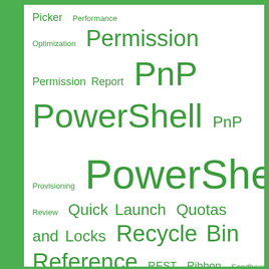[Figure (other): Tag cloud with SharePoint-related terms in various font sizes, all in green on white background. Terms include: Picker, Performance Optimization, Permission, Permission Report, PnP PowerShell, PnP, Provisioning, PowerShell, Presentations, Product Review, Quick Launch, Quotas and Locks, Recycle Bin, Reference, REST, Ribbon, Sandboxed solutions, Search, Security, Service Application, Service Packs, SharePoint, SharePoint 2007, SharePoint 2010, SharePoint 2013, SharePoint 2016, SharePoint 2019, SharePoint Admin Center, SharePoint Basics, SharePoint Database, SharePoint Designer]